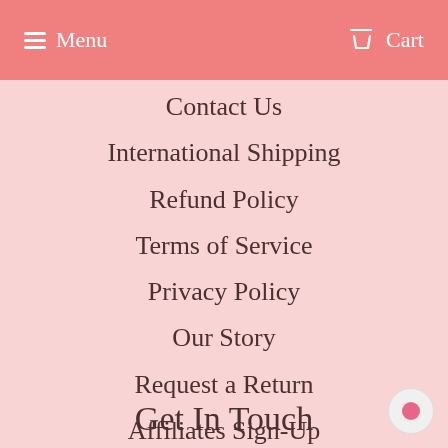Menu  Cart
Contact Us
International Shipping
Refund Policy
Terms of Service
Privacy Policy
Our Story
Request a Return
Affiliates Sign-Up
Sitemap
Get In Touch